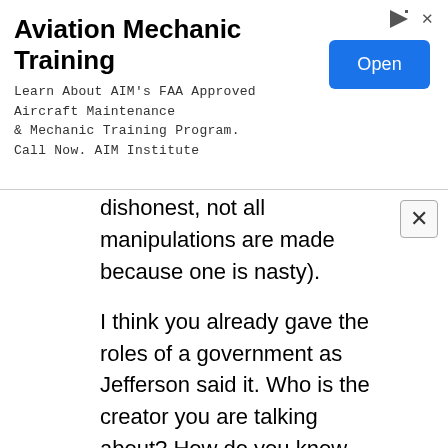[Figure (infographic): Advertisement banner for Aviation Mechanic Training. Title: 'Aviation Mechanic Training'. Body text: 'Learn About AIM's FAA Approved Aircraft Maintenance & Mechanic Training Program. Call Now. AIM Institute'. Blue 'Open' button on the right. Small arrow and close icons in the top right corner.]
dishonest, not all manipulations are made because one is nasty).
I think you already gave the roles of a government as Jefferson said it. Who is the creator you are talking about? How do you know who s/he is? And how do you know his/her will? If you are talking about the Bible character, he is also a king and a dictator.
About Whole Foods market, first